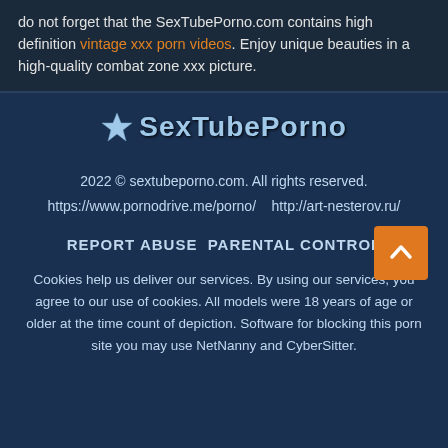do not forget that the SexTubePorno.com contains high definition vintage xxx porn videos. Enjoy unique beauties in a high-quality combat zone xxx picture.
[Figure (logo): SexTubePorno star logo with text]
2022 © sextubeporno.com. All rights reserved.
https://www.pornodrive.me/porno/    http://art-nesterov.ru/
REPORT ABUSE   PARENTAL CONTROL
Cookies help us deliver our services. By using our services, you agree to our use of cookies. All models were 18 years of age or older at the time count of depiction. Software for blocking this porn site you may use NetNanny and CyberSitter.